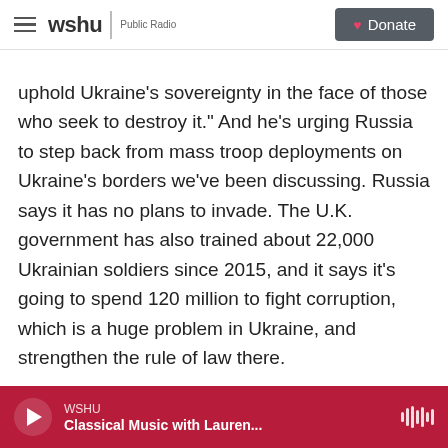WSHU | Public Radio — Donate
uphold Ukraine's sovereignty in the face of those who seek to destroy it." And he's urging Russia to step back from mass troop deployments on Ukraine's borders we've been discussing. Russia says it has no plans to invade. The U.K. government has also trained about 22,000 Ukrainian soldiers since 2015, and it says it's going to spend 120 million to fight corruption, which is a huge problem in Ukraine, and strengthen the rule of law there.
FADEL: London is a haven for Russian oligarchs and Russian money.
WSHU — Classical Music with Lauren...